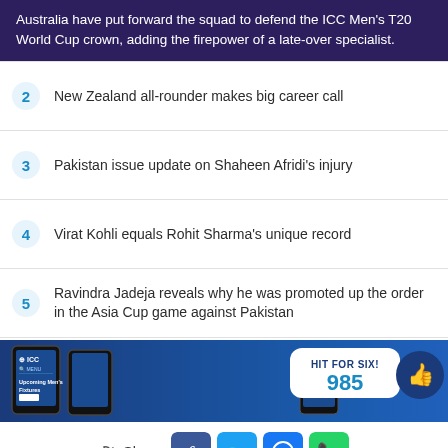Australia have put forward the squad to defend the ICC Men's T20 World Cup crown, adding the firepower of a late-over specialist.
2  New Zealand all-rounder makes big career call
3  Pakistan issue update on Shaheen Afridi's injury
4  Virat Kohli equals Rohit Sharma's unique record
5  Ravindra Jadeja reveals why he was promoted up the order in the Asia Cup game against Pakistan
[Figure (infographic): ICC mobile app promotional banner showing phones with 'Upcoming Men's Fixtures', HIT FOR SIX! 985 like counter with thumbs up circle button]
Share — Facebook, Twitter, Messenger, WhatsApp social sharing buttons